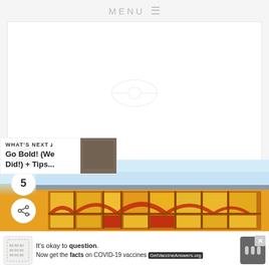MENU ☰
[Figure (screenshot): Large white content area with faint centered logo/icon, representing a webpage article image placeholder]
[Figure (illustration): Circular heart/like button icon (dark gray circle with white heart)]
5
[Figure (illustration): Circular share button icon (white circle with share symbol and plus sign)]
WHAT'S NEXT → Go Bold! (We Did!) + Tips...
[Figure (photo): Photo of stained glass window on a building exterior with yellow, orange, and red glass panels in decorative pattern]
[Figure (infographic): Advertisement banner: It's okay to question. Now get the facts on COVID-19 vaccines. GetVaccineAnswers.org]